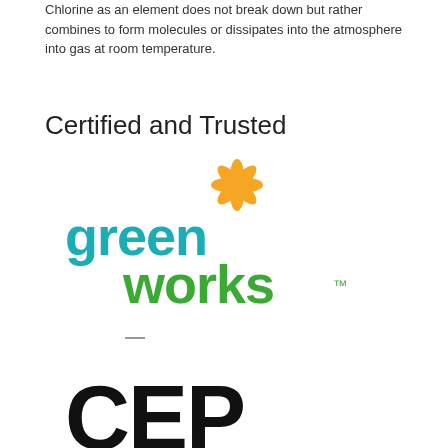Chlorine as an element does not break down but rather combines to form molecules or dissipates into the atmosphere into gas at room temperature.
Certified and Trusted
[Figure (logo): Green Works logo — 'green' in teal and 'works' in green, with an orange flower/sunburst asterisk graphic above the 'k' in 'green']
[Figure (logo): CEP Clean Energy Project logo — large black letters 'CEP' with 'CLEAN ENERGY PROJECT' in small spaced caps below]